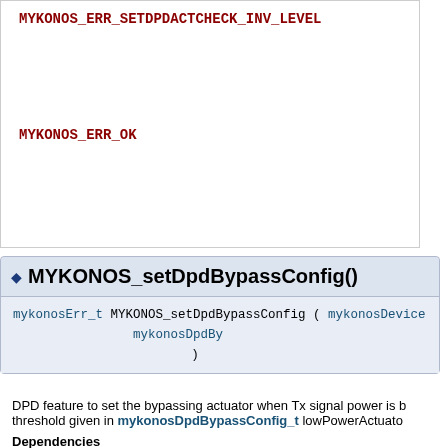MYKONOS_ERR_SETDPDACTCHECK_INV_LEVEL
MYKONOS_ERR_OK
MYKONOS_setDpdBypassConfig()
mykonosErr_t MYKONOS_setDpdBypassConfig ( mykonosDevice ... mykonosDpdBy ... )
DPD feature to set the bypassing actuator when Tx signal power is b... threshold given in mykonosDpdBypassConfig_t lowPowerActuator...
Dependencies